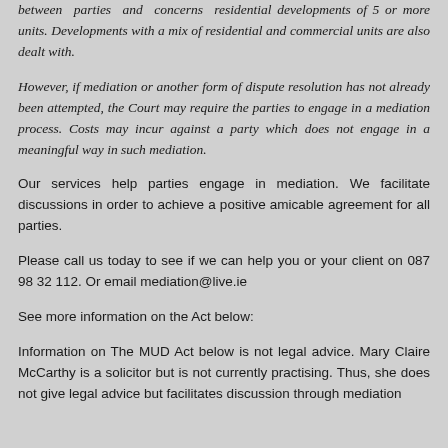between parties and concerns residential developments of 5 or more units. Developments with a mix of residential and commercial units are also dealt with.
However, if mediation or another form of dispute resolution has not already been attempted, the Court may require the parties to engage in a mediation process. Costs may incur against a party which does not engage in a meaningful way in such mediation.
Our services help parties engage in mediation. We facilitate discussions in order to achieve a positive amicable agreement for all parties.
Please call us today to see if we can help you or your client on 087 98 32 112. Or email mediation@live.ie
See more information on the Act below:
Information on The MUD Act below is not legal advice. Mary Claire McCarthy is a solicitor but is not currently practising. Thus, she does not give legal advice but facilitates discussion through mediation